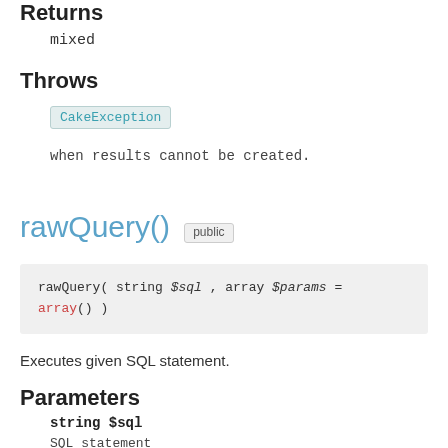Returns
mixed
Throws
CakeException
when results cannot be created.
rawQuery()  public
rawQuery( string $sql , array $params = array() )
Executes given SQL statement.
Parameters
string $sql
SQL statement